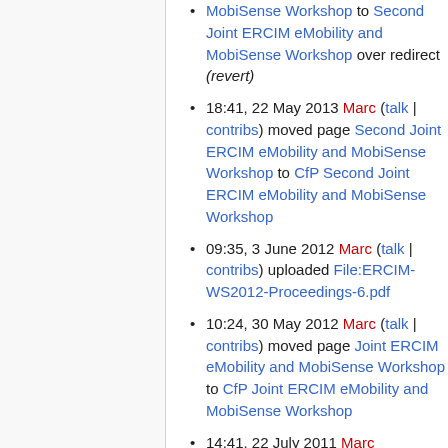MobiSense Workshop to Second Joint ERCIM eMobility and MobiSense Workshop over redirect (revert)
18:41, 22 May 2013 Marc (talk | contribs) moved page Second Joint ERCIM eMobility and MobiSense Workshop to CfP Second Joint ERCIM eMobility and MobiSense Workshop
09:35, 3 June 2012 Marc (talk | contribs) uploaded File:ERCIM-WS2012-Proceedings-6.pdf
10:24, 30 May 2012 Marc (talk | contribs) moved page Joint ERCIM eMobility and MobiSense Workshop to CfP Joint ERCIM eMobility and MobiSense Workshop
14:41, 22 July 2011 Marc